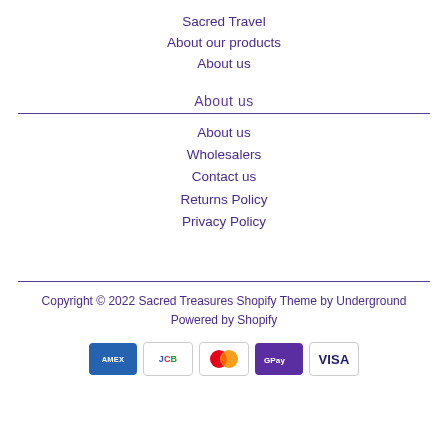Sacred Travel
About our products
About us
About us
About us
Wholesalers
Contact us
Returns Policy
Privacy Policy
Copyright © 2022 Sacred Treasures Shopify Theme by Underground
Powered by Shopify
[Figure (other): Payment method icons: American Express, JCB, Mastercard, G Pay, Visa]